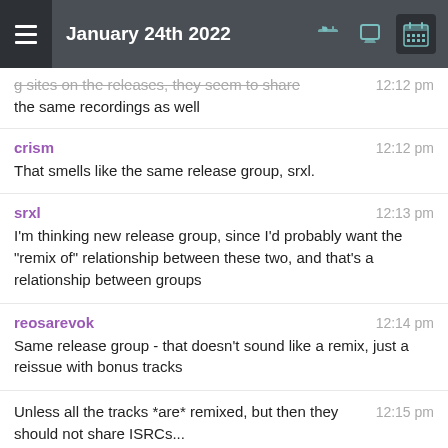January 24th 2022
g sites on the releases, they seem to share the same recordings as well
crism — That smells like the same release group, srxl.
srxl — I'm thinking new release group, since I'd probably want the "remix of" relationship between these two, and that's a relationship between groups
reosarevok — Same release group - that doesn't sound like a remix, just a reissue with bonus tracks
Unless all the tracks *are* remixed, but then they should not share ISRCs...